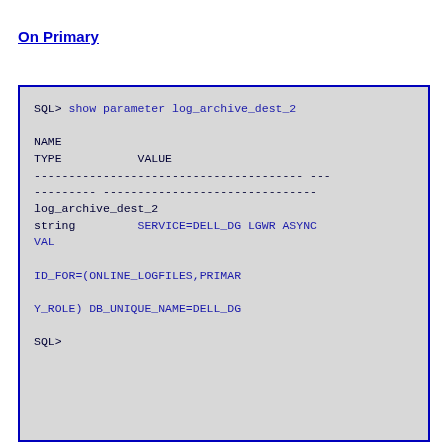On Primary
[Figure (screenshot): Terminal/SQL code block showing SQL> show parameter log_archive_dest_2 command output with NAME, TYPE, VALUE columns and result showing log_archive_dest_2 string SERVICE=DELL_DG LGWR ASYNC VALID_FOR=(ONLINE_LOGFILES,PRIMARY_ROLE) DB_UNIQUE_NAME=DELL_DG followed by SQL> prompt]